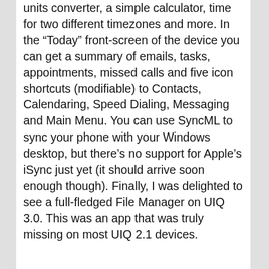units converter, a simple calculator, time for two different timezones and more. In the “Today” front-screen of the device you can get a summary of emails, tasks, appointments, missed calls and five icon shortcuts (modifiable) to Contacts, Calendaring, Speed Dialing, Messaging and Main Menu. You can use SyncML to sync your phone with your Windows desktop, but there’s no support for Apple’s iSync just yet (it should arrive soon enough though). Finally, I was delighted to see a full-fledged File Manager on UIQ 3.0. This was an app that was truly missing on most UIQ 2.1 devices.
The M600i also comes with great multimedia support: a music and a video player. It supports AAC, MP4, MP3, 3GP and RM/RAM formats. Real Player streams can be saved as links and then played back via the “Online Player” application. Unfortunately this application does not support PLS files for online mp3 streaming. The music player is very good, it has EQ support and I found the sound quality of the included stereo headset extremely